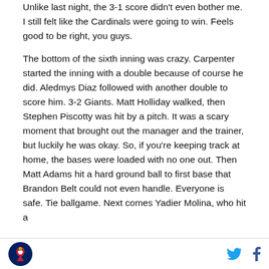Unlike last night, the 3-1 score didn't even bother me. I still felt like the Cardinals were going to win. Feels good to be right, you guys.
The bottom of the sixth inning was crazy. Carpenter started the inning with a double because of course he did. Aledmys Diaz followed with another double to score him. 3-2 Giants. Matt Holliday walked, then Stephen Piscotty was hit by a pitch. It was a scary moment that brought out the manager and the trainer, but luckily he was okay. So, if you're keeping track at home, the bases were loaded with no one out. Then Matt Adams hit a hard ground ball to first base that Brandon Belt could not even handle. Everyone is safe. Tie ballgame. Next comes Yadier Molina, who hit a
[Cardinals logo] [Twitter icon] [Facebook icon]